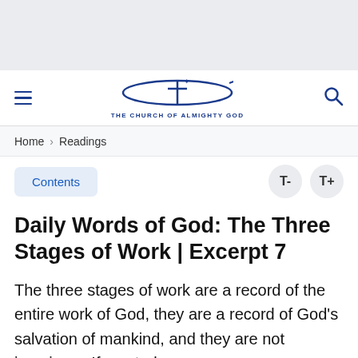[Figure (logo): The Church of Almighty God logo with cross and swoosh, with text 'THE CHURCH OF ALMIGHTY GOD']
Home > Readings
Contents  T-  T+
Daily Words of God: The Three Stages of Work | Excerpt 7
The three stages of work are a record of the entire work of God, they are a record of God's salvation of mankind, and they are not imaginary. If you truly